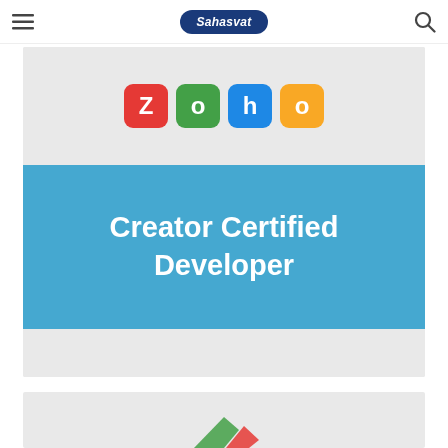Sahasvat
[Figure (screenshot): Screenshot of a webpage showing a card with colorful ZOHO logo blocks on a light gray background above a sky-blue banner reading 'Creator Certified Developer' in large white bold text, on the Sahasvat website.]
Creator Certified Developer
[Figure (screenshot): Partial view of a second card on the same webpage, showing a gray background with the beginning of another logo or image at the bottom.]